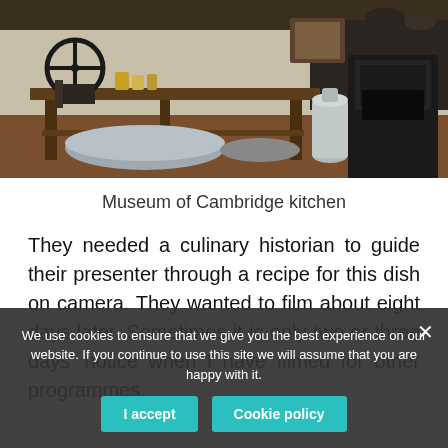[Figure (photo): Interior of a historic kitchen at the Museum of Cambridge, showing a wooden workbench with large metal bowls underneath, a hand-cranked machine on the left, and a black cast-iron stove on the right. Various jars, pots, and milk churns are visible.]
Museum of Cambridge kitchen
They needed a culinary historian to guide their presenter through a recipe for this dish on camera. They wanted to film about eight days later. Sometimes it is only two or three days' notice when I have filmed for other programmes.
We use cookies to ensure that we give you the best experience on our website. If you continue to use this site we will assume that you are happy with it.
I accept
Cookie policy